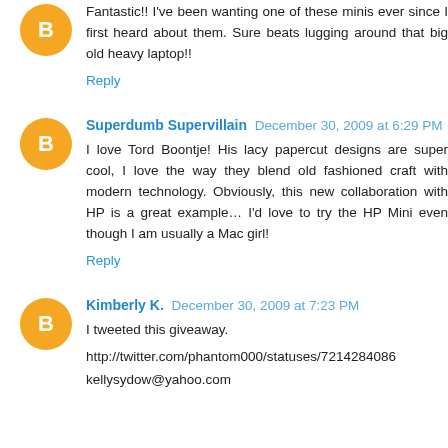Fantastic!! I've been wanting one of these minis ever since I first heard about them. Sure beats lugging around that big old heavy laptop!!
Reply
Superdumb Supervillain  December 30, 2009 at 6:29 PM
I love Tord Boontje! His lacy papercut designs are super cool, I love the way they blend old fashioned craft with modern technology. Obviously, this new collaboration with HP is a great example… I'd love to try the HP Mini even though I am usually a Mac girl!
Reply
Kimberly K.  December 30, 2009 at 7:23 PM
I tweeted this giveaway.
http://twitter.com/phantom000/statuses/7214284086
kellysydow@yahoo.com